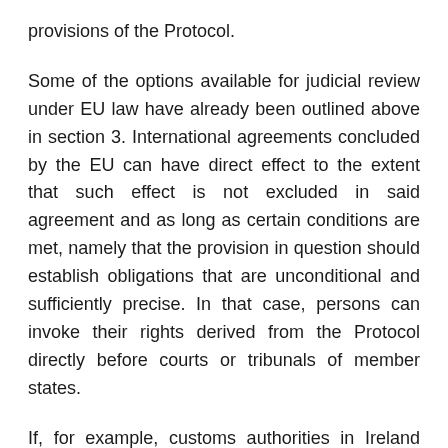provisions of the Protocol.
Some of the options available for judicial review under EU law have already been outlined above in section 3. International agreements concluded by the EU can have direct effect to the extent that such effect is not excluded in said agreement and as long as certain conditions are met, namely that the provision in question should establish obligations that are unconditional and sufficiently precise. In that case, persons can invoke their rights derived from the Protocol directly before courts or tribunals of member states.
If, for example, customs authorities in Ireland were to decide to impose barriers on goods moved from Northern Ireland into Ireland, private persons could challenge such measures by reference to the provisions